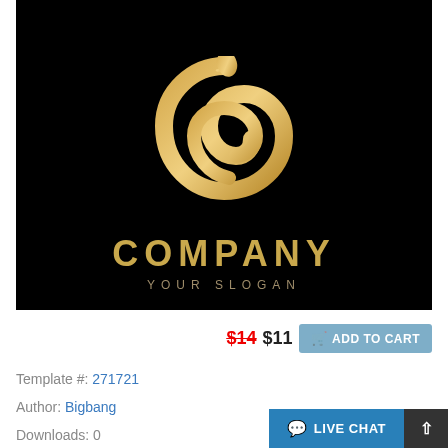[Figure (logo): Gold snake/swan logo on black background with text COMPANY and YOUR SLOGAN]
$14 $11  ADD TO CART
Template #: 271721
Author: Bigbang
Downloads: 0